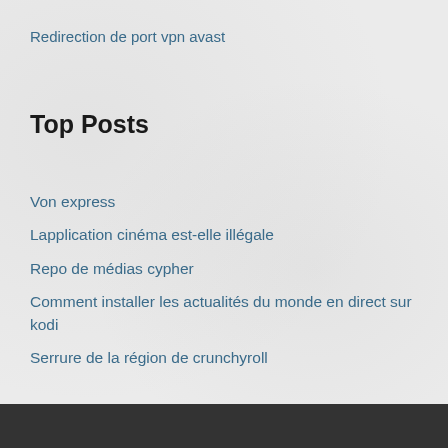Redirection de port vpn avast
Top Posts
Von express
Lapplication cinéma est-elle illégale
Repo de médias cypher
Comment installer les actualités du monde en direct sur kodi
Serrure de la région de crunchyroll